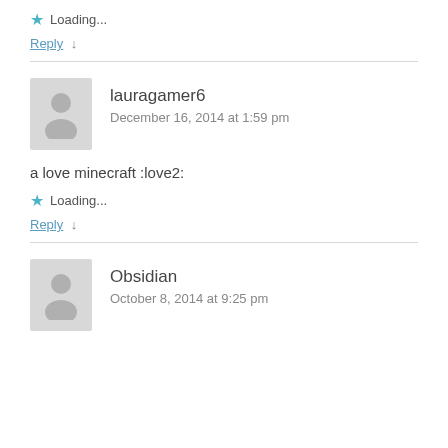Loading...
Reply ↓
lauragamer6
December 16, 2014 at 1:59 pm
a love minecraft :love2:
Loading...
Reply ↓
Obsidian
October 8, 2014 at 9:25 pm